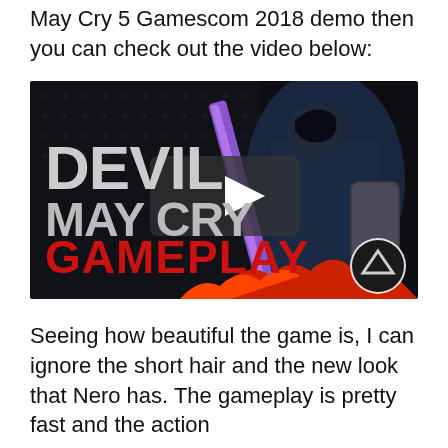May Cry 5 Gamescom 2018 demo then you can check out the video below:
[Figure (screenshot): Video thumbnail for Devil May Cry 5 Gameplay showing Nero character with large sword, dark background with dots pattern, text overlay reading DEVIL MAY CRY GAMEPLAY with play button in center and channel logo bottom right]
Seeing how beautiful the game is, I can ignore the short hair and the new look that Nero has. The gameplay is pretty fast and the action